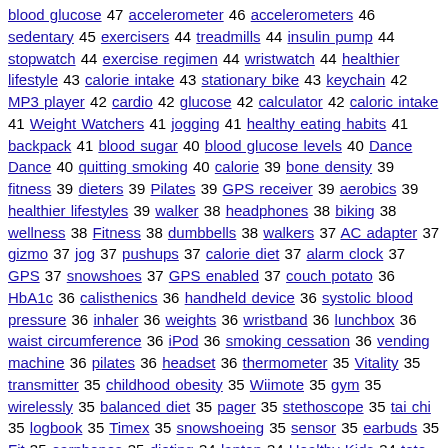blood glucose 47 accelerometer 46 accelerometers 46 sedentary 45 exercisers 44 treadmills 44 insulin pump 44 stopwatch 44 exercise regimen 44 wristwatch 44 healthier lifestyle 43 calorie intake 43 stationary bike 43 keychain 42 MP3 player 42 cardio 42 glucose 42 calculator 42 caloric intake 41 Weight Watchers 41 jogging 41 healthy eating habits 41 backpack 41 blood sugar 40 blood glucose levels 40 Dance Dance 40 quitting smoking 40 calorie 39 bone density 39 fitness 39 dieters 39 Pilates 39 GPS receiver 39 aerobics 39 healthier lifestyles 39 walker 38 headphones 38 biking 38 wellness 38 Fitness 38 dumbbells 38 walkers 37 AC adapter 37 gizmo 37 jog 37 pushups 37 calorie diet 37 alarm clock 37 GPS 37 snowshoes 37 GPS enabled 37 couch potato 36 HbA1c 36 calisthenics 36 handheld device 36 systolic blood pressure 36 inhaler 36 weights 36 wristband 36 lunchbox 36 waist circumference 36 iPod 36 smoking cessation 36 vending machine 36 pilates 36 headset 36 thermometer 35 Vitality 35 transmitter 35 childhood obesity 35 Wiimote 35 gym 35 wirelessly 35 balanced diet 35 pager 35 stethoscope 35 tai chi 35 logbook 35 Timex 35 snowshoeing 35 sensor 35 earbuds 35 Fit 35 earphones 35 dieting 34 laptop 34 Healthy Kids 34 tote bag 34 AA batteries 34 notepad 34 healthy lifestyles 34 voice recorder 34 docking station 34 USB port 34 quit smoking 34 stylus
Back to home page